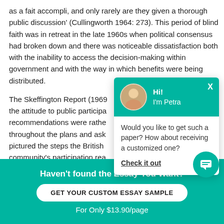as a fait accompli, and only rarely are they given a thorough public discussion' (Cullingworth 1964: 273). This period of blind faith was in retreat in the late 1960s when political consensus had broken down and there was noticeable dissatisfaction both with the inability to access the decision-making within government and with the way in which benefits were being distributed.
The Skeffington Report (1969... the attitude to public participa... recommendations were rathe... throughout the plans and ask... pictured the steps the British... community's participation rea... the Seebohm Committee (196... contrast between the traditio... public participation.
[Figure (screenshot): Chat popup widget showing avatar of 'Petra' with teal header, message 'Would you like to get such a paper? How about receiving a customized one?' and 'Check it out' link]
[Figure (infographic): Bottom teal banner: 'Haven't found the Essay You Want?' with CTA button 'GET YOUR CUSTOM ESSAY SAMPLE' and text 'For Only $13.90/page']